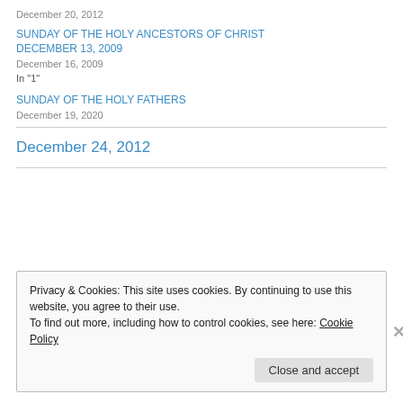December 20, 2012
SUNDAY OF THE HOLY ANCESTORS OF CHRIST
DECEMBER 13, 2009
December 16, 2009
In "1"
SUNDAY OF THE HOLY FATHERS
December 19, 2020
December 24, 2012
Privacy & Cookies: This site uses cookies. By continuing to use this website, you agree to their use.
To find out more, including how to control cookies, see here: Cookie Policy
Close and accept